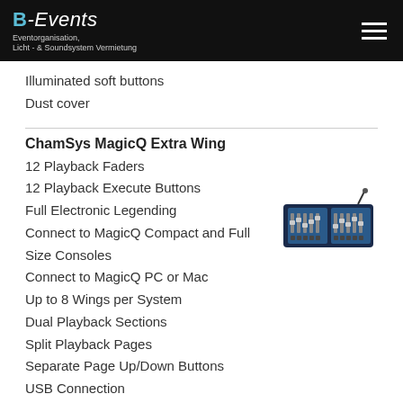B-Events Eventorganisation, Licht- & Soundsystem Vermietung
Illuminated soft buttons
Dust cover
ChamSys MagicQ Extra Wing
12 Playback Faders
12 Playback Execute Buttons
Full Electronic Legending
Connect to MagicQ Compact and Full Size Consoles
Connect to MagicQ PC or Mac
Up to 8 Wings per System
Dual Playback Sections
Split Playback Pages
Separate Page Up/Down Buttons
USB Connection
Dimmable LED Desk Lamp
Built in PSU
[Figure (photo): ChamSys MagicQ Extra Wing product photo showing a blue/black lighting controller with faders and buttons]